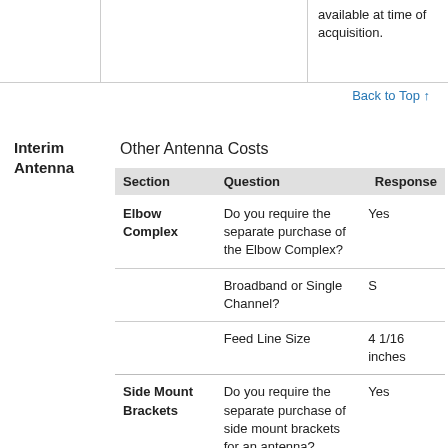available at time of acquisition.
Back to Top ↑
Interim Antenna
Other Antenna Costs
| Section | Question | Response |
| --- | --- | --- |
| Elbow Complex | Do you require the separate purchase of the Elbow Complex? | Yes |
|  | Broadband or Single Channel? | S |
|  | Feed Line Size | 4 1/16 inches |
| Side Mount Brackets | Do you require the separate purchase of side mount brackets for an antenna? | Yes |